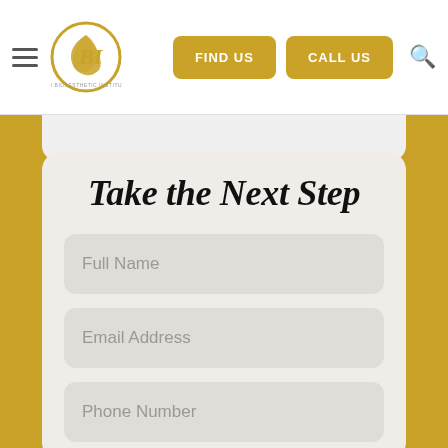OBI — Navigation bar with hamburger menu, OBI logo, FIND US button, CALL US button, search icon
Take the Next Step
Full Name
Email Address
Phone Number